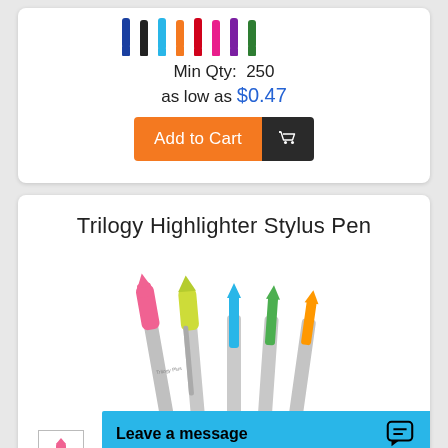[Figure (photo): Colorful ballpoint pens in multiple colors (blue, black, blue light, orange, red, pink, purple, green) shown from the tip end]
Min Qty:  250
as low as $0.47
[Figure (other): Add to Cart button with orange left section and dark right section with shopping cart icon]
Trilogy Highlighter Stylus Pen
[Figure (photo): Trilogy Highlighter Stylus Pens in multiple colors: pink, yellow-green, light blue, teal/green, orange — shown fanned out upright with silver barrels]
[Figure (photo): Small thumbnail showing pink stylus pen tip labeled 'Stylus']
Leave a message